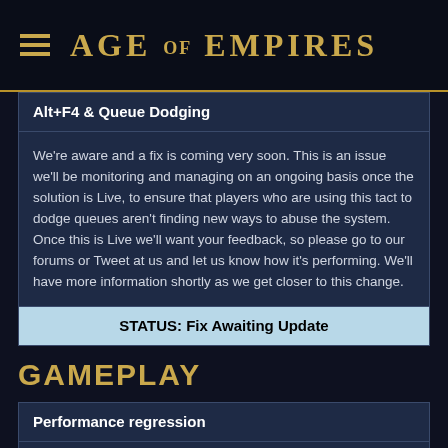AGE OF EMPIRES
Alt+F4 & Queue Dodging
We're aware and a fix is coming very soon. This is an issue we'll be monitoring and managing on an ongoing basis once the solution is Live, to ensure that players who are using this tact to dodge queues aren't finding new ways to abuse the system. Once this is Live we'll want your feedback, so please go to our forums or Tweet at us and let us know how it's performing. We'll have more information shortly as we get closer to this change.
STATUS: Fix Awaiting Update
GAMEPLAY
Performance regression
We are continuing to monitor performance after the recent